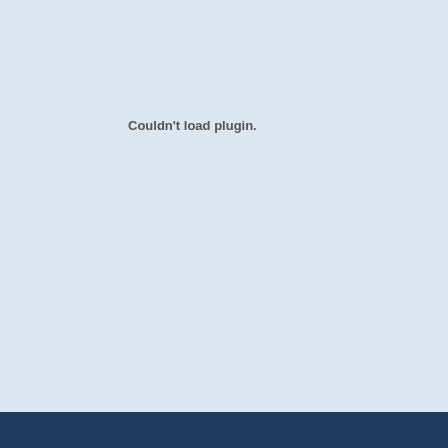Couldn't load plugin.
--Jason D. Martin
Posted by American Alpine Institute at 6:00 AM  1 comments
Newer Posts   Home   Older Pos...
View mobile version
Subscribe to: Posts (Atom)